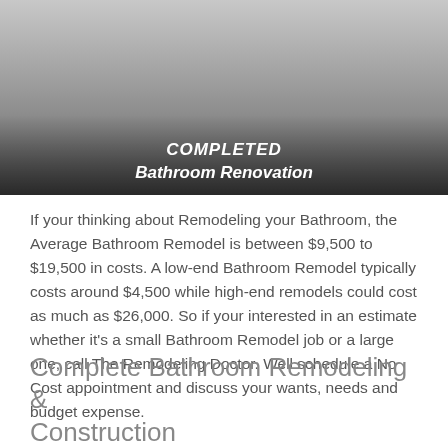[Figure (photo): Bathroom renovation completed project photo with dark gradient overlay at bottom showing text COMPLETED and Bathroom Renovation]
COMPLETED
Bathroom Renovation
If your thinking about Remodeling your Bathroom, the Average Bathroom Remodel is between $9,500 to $19,500 in costs. A low-end Bathroom Remodel typically costs around $4,500 while high-end remodels could cost as much as $26,000. So if your interested in an estimate whether it's a small Bathroom Remodel job or a large one, call The Remodeling Doctor. Well schedule a No Cost appointment and discuss your wants, needs and budget expense.
Complete Bathroom Remodeling & Construction